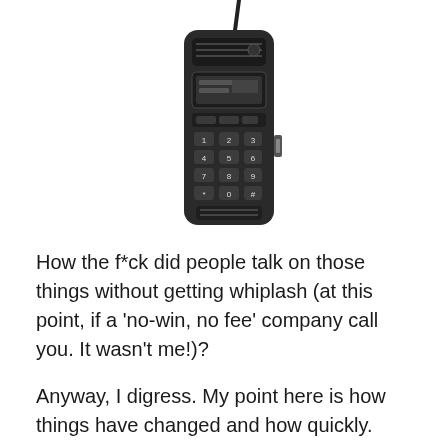[Figure (photo): A large, old-fashioned black brick mobile phone with antenna, keypad, speaker grille, and side USB port, photographed against a white background.]
How the f*ck did people talk on those things without getting whiplash (at this point, if a 'no-win, no fee' company call you. It wasn't me!)?
Anyway, I digress. My point here is how things have changed and how quickly.
For me, Steve Jobs was at the forefront of the digital revolution, and will be remembered as that landmark moment of